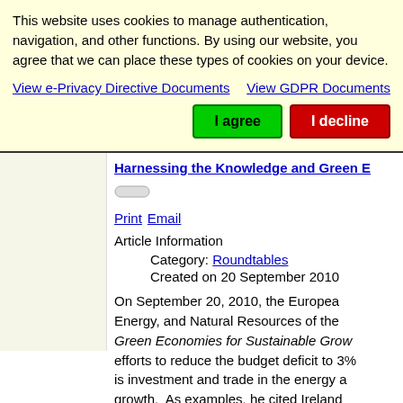This website uses cookies to manage authentication, navigation, and other functions. By using our website, you agree that we can place these types of cookies on your device.
View e-Privacy Directive Documents
View GDPR Documents
I agree
I decline
Harnessing the Knowledge and Green E...
Print  Email
Article Information
Category: Roundtables
Created on 20 September 2010
On September 20, 2010, the European... Energy, and Natural Resources of the... Green Economies for Sustainable Grow... efforts to reduce the budget deficit to 3%... is investment and trade in the energy a... growth. As examples, he cited Ireland... ongoing efforts to draw upon such plan...